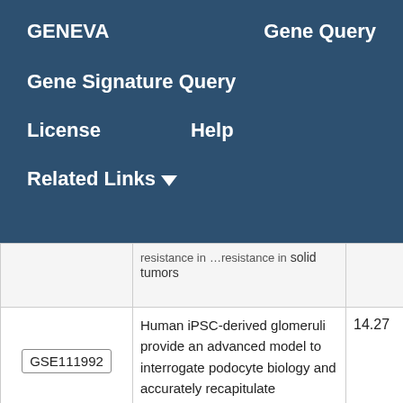GENEVA   Gene Query   Gene Signature Query   License   Help   Related Links
|  | Description | Score |
| --- | --- | --- |
|  | …resistance in solid tumors |  |
| GSE111992 | Human iPSC-derived glomeruli provide an advanced model to interrogate podocyte biology and accurately recapitulate | 14.27 |